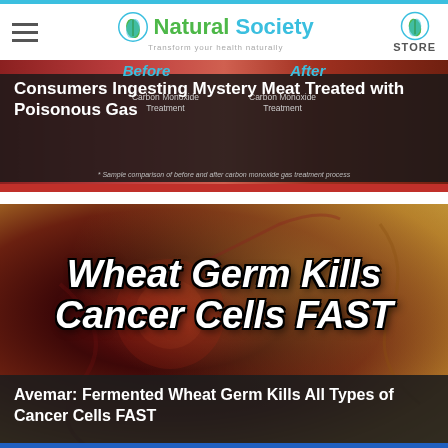Natural Society — Transform your health naturally | STORE
[Figure (screenshot): Article card: before/after meat image with dark overlay. Title: Consumers Ingesting Mystery Meat Treated with Poisonous Gas. Before/After labels with Carbon Monoxide Treatment text.]
[Figure (photo): Article card with cancer cell microscopy image. Large text overlay: Wheat Germ Kills Cancer Cells FAST. Caption bar: Avemar: Fermented Wheat Germ Kills All Types of Cancer Cells FAST.]